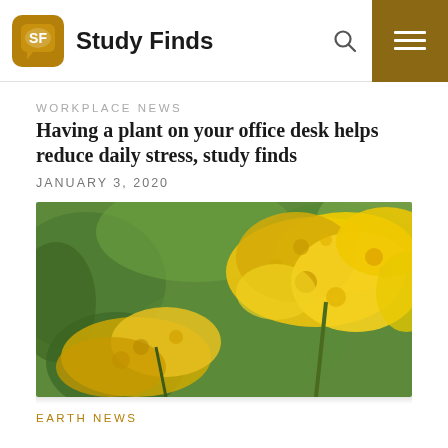Study Finds
WORKPLACE NEWS
Having a plant on your office desk helps reduce daily stress, study finds
JANUARY 3, 2020
[Figure (photo): Close-up photograph of bright yellow goldenrod flowers in bloom against a blurred green background.]
EARTH NEWS